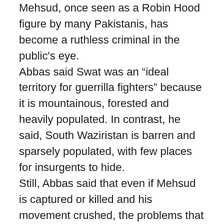Mehsud, once seen as a Robin Hood figure by many Pakistanis, has become a ruthless criminal in the public's eye.
Abbas said Swat was an “ideal territory for guerrilla fighters” because it is mountainous, forested and heavily populated. In contrast, he said, South Waziristan is barren and sparsely populated, with few places for insurgents to hide.
Still, Abbas said that even if Mehsud is captured or killed and his movement crushed, the problems that spawned it will not vanish overnight. “The tribal areas have been neglected for 50 years,” the spokesman said. “We will do our part, but there has to be follow-up by the civilian administration, better governance, more development. This is going to be a long haul.”
“It is now clear that any tribals who side with the Army will be aided, the enemy said,” Rifaat Hussain, a professor